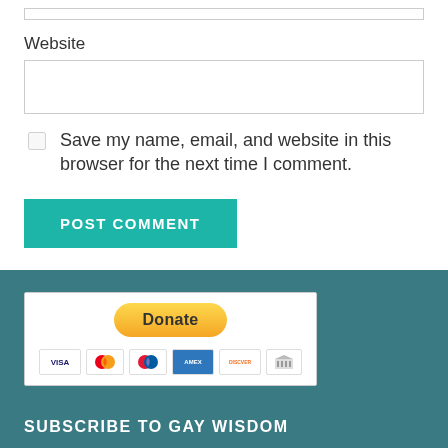Website
Save my name, email, and website in this browser for the next time I comment.
POST COMMENT
[Figure (other): PayPal Donate button with credit card icons (Visa, Mastercard, Maestro, American Express, Discover, bank transfer)]
SUBSCRIBE TO GAY WISDOM
Email *